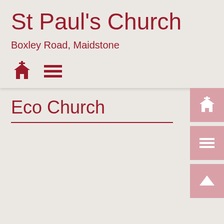St Paul's Church
Boxley Road, Maidstone
[Figure (infographic): Church icon and hamburger menu icon in dark red]
Eco Church
[Figure (infographic): Three sidebar buttons on the right: church icon, hamburger menu icon, and up arrow icon, in pink/rose background]